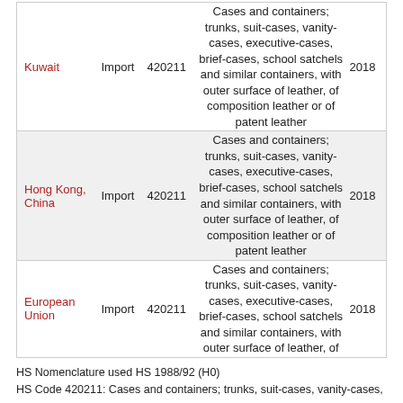|  |  |  | Description |  |
| --- | --- | --- | --- | --- |
| Kuwait | Import | 420211 | Cases and containers; trunks, suit-cases, vanity-cases, executive-cases, brief-cases, school satchels and similar containers, with outer surface of leather, of composition leather or of patent leather | 2018 |
| Hong Kong, China | Import | 420211 | Cases and containers; trunks, suit-cases, vanity-cases, executive-cases, brief-cases, school satchels and similar containers, with outer surface of leather, of composition leather or of patent leather | 2018 |
| European Union | Import | 420211 | Cases and containers; trunks, suit-cases, vanity-cases, executive-cases, brief-cases, school satchels and similar containers, with outer surface of leather, of | 2018 |
HS Nomenclature used HS 1988/92 (H0)
HS Code 420211: Cases and containers; trunks, suit-cases, vanity-cases,